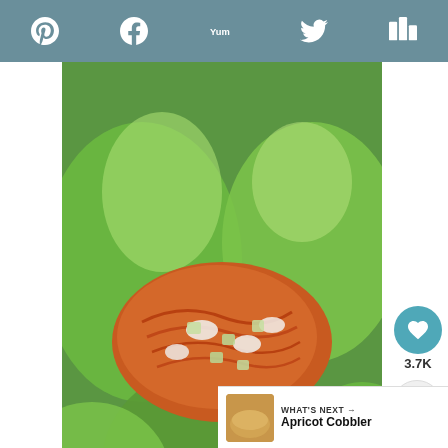Pinterest | Facebook | Yummly | Twitter | Mix
[Figure (photo): Close-up photo of buffalo chicken lettuce wraps with shredded orange chicken, diced cucumbers, and creamy dressing in green butter lettuce leaves]
Subscribe to Delicious Little Bites!
Get updates on the latest posts and more from Delicious Little Bites straight inbox. Free book will arrive to your inbox within 1-3 days.